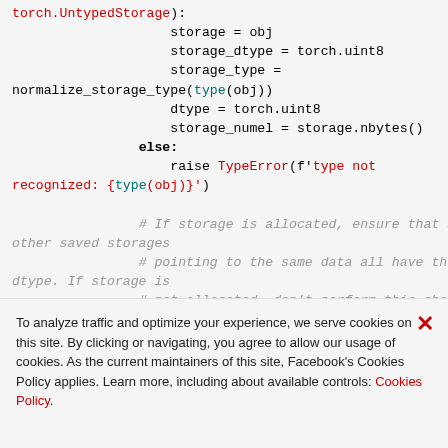torch.UntypedStorage):
                    storage = obj
                    storage_dtype = torch.uint8
                    storage_type =
normalize_storage_type(type(obj))
                    dtype = torch.uint8
                    storage_numel = storage.nbytes()
                else:
                    raise TypeError(f'type not
recognized: {type(obj)}')

                # If storage is allocated, ensure that any other saved storages
                # pointing to the same data all have the same
                # dtype. If storage is
                # not allocated, don't perform this check
                if storage.data_ptr() != 0:
                        if storage.data_ptr() in
                storage_dtypes:
                                if storage dtype !=
To analyze traffic and optimize your experience, we serve cookies on this site. By clicking or navigating, you agree to allow our usage of cookies. As the current maintainers of this site, Facebook's Cookies Policy applies. Learn more, including about available controls: Cookies Policy.